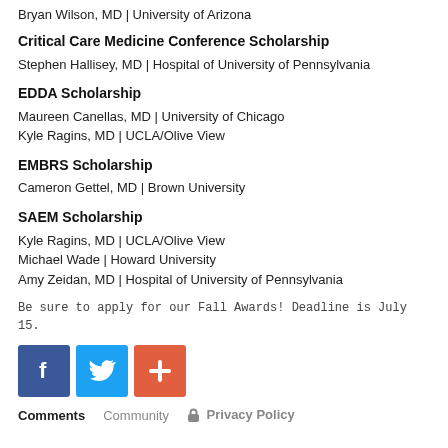Bryan Wilson, MD | University of Arizona
Critical Care Medicine Conference Scholarship
Stephen Hallisey, MD | Hospital of University of Pennsylvania
EDDA Scholarship
Maureen Canellas, MD | University of Chicago
Kyle Ragins, MD | UCLA/Olive View
EMBRS Scholarship
Cameron Gettel, MD | Brown University
SAEM Scholarship
Kyle Ragins, MD | UCLA/Olive View
Michael Wade | Howard University
Amy Zeidan, MD | Hospital of University of Pennsylvania
Be sure to apply for our Fall Awards! Deadline is July 15.
[Figure (infographic): Three social media buttons: Facebook (blue), Twitter (light blue), Google+ (orange-red)]
Comments   Community   Privacy Policy